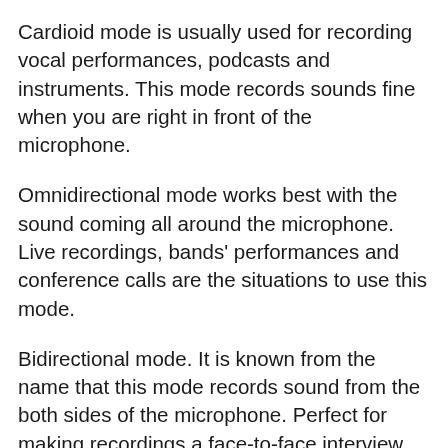Cardioid mode is usually used for recording vocal performances, podcasts and instruments. This mode records sounds fine when you are right in front of the microphone.
Omnidirectional mode works best with the sound coming all around the microphone. Live recordings, bands' performances and conference calls are the situations to use this mode.
Bidirectional mode. It is known from the name that this mode records sound from the both sides of the microphone. Perfect for making recordings a face-to-face interview.
We may not give you direct recommendations on what mode to use. But here are some tips: